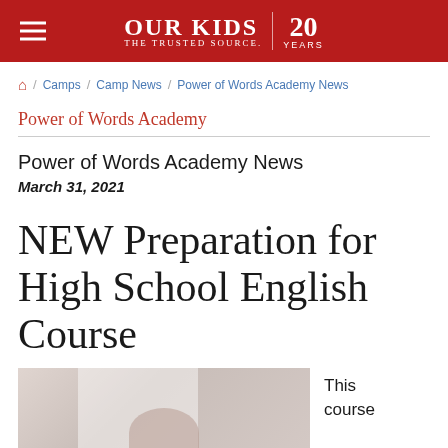Our Kids | The Trusted Source. 20 Years
Home / Camps / Camp News / Power of Words Academy News
Power of Words Academy
Power of Words Academy News
March 31, 2021
NEW Preparation for High School English Course
[Figure (photo): Photo of a student or teacher, bright window background]
This course